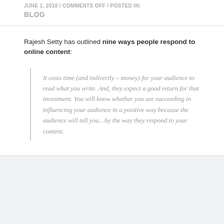JUNE 1, 2010 / COMMENTS OFF / POSTED IN: BLOG
Rajesh Setty has outlined nine ways people respond to online content:
It costs time (and indirectly – money) for your audience to read what you write. And, they expect a good return for that investment. You will know whether you are succeeding in influencing your audience in a positive way because the audience will tell you...by the way they respond to your content.